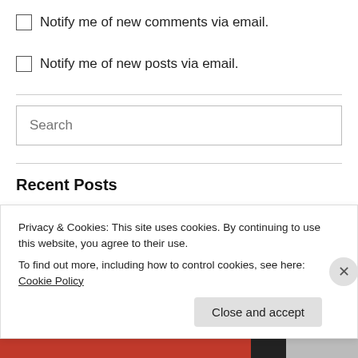Notify me of new comments via email.
Notify me of new posts via email.
[Figure (other): Search input box with placeholder text 'Search']
Recent Posts
How to Discuss Antisemitism with Children
TO HEAL AS A NATION, WE MUST BEFRIEND PEOPLE WHO DON'T
Privacy & Cookies: This site uses cookies. By continuing to use this website, you agree to their use. To find out more, including how to control cookies, see here: Cookie Policy
Close and accept